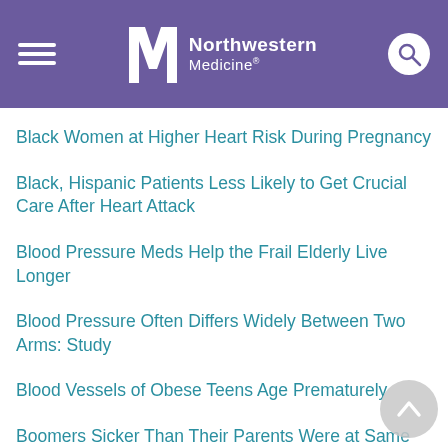Northwestern Medicine
Black Women at Higher Heart Risk During Pregnancy
Black, Hispanic Patients Less Likely to Get Crucial Care After Heart Attack
Blood Pressure Meds Help the Frail Elderly Live Longer
Blood Pressure Often Differs Widely Between Two Arms: Study
Blood Vessels of Obese Teens Age Prematurely
Boomers Sicker Than Their Parents Were at Same Age
Brain Injuries Raise Long-Term Risk of Stroke
Brain, Nervous System Affected in 1 in 3 Cases